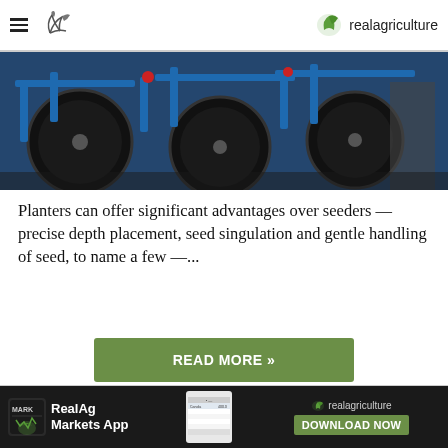realagriculture
[Figure (photo): Blue agricultural planter machinery with disc openers and components, close-up view]
Planters can offer significant advantages over seeders — precise depth placement, seed singulation and gentle handling of seed, to name a few —...
READ MORE »
Canola School: Planter vs. Seeder—
[Figure (infographic): RealAg Markets App advertisement banner with app icon, phone screenshot, and download button on dark background]